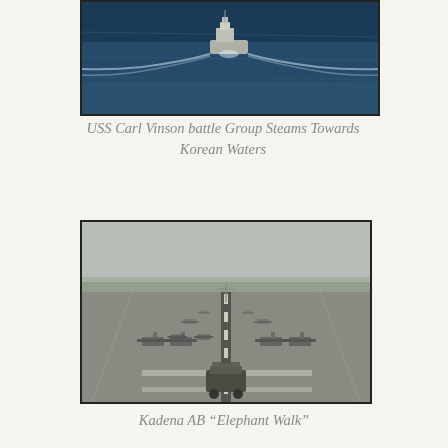[Figure (photo): Aerial photograph of USS Carl Vinson battle group ship steaming through dark blue ocean waters, viewed from above.]
USS Carl Vinson battle Group Steams Towards Korean Waters
[Figure (photo): Ground-level photograph of Kadena Air Base 'Elephant Walk' showing rows of military aircraft lined up on a runway stretching into the distance, with a vehicle in the foreground.]
Kadena AB “Elephant Walk”